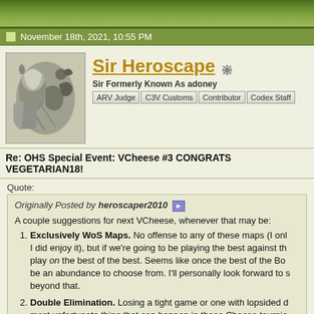[Figure (illustration): Green banner/header strip at top of forum page]
November 18th, 2021, 10:55 PM
[Figure (illustration): Avatar image showing fantasy art with a warrior and dragon in grayscale]
Sir Heroscape
Sir Formerly Known As adoney
ARV Judge | C3V Customs | Contributor | Codex Staff
Re: OHS Special Event: VCheese #3 CONGRATS VEGETARIAN18!
Quote:
Originally Posted by heroscaper2010
A couple suggestions for next VCheese, whenever that may be:
1. Exclusively WoS Maps. No offense to any of these maps (I only I did enjoy it), but if we're going to be playing the best against the play on the best of the best. Seems like once the best of the BoW be an abundance to choose from. I'll personally look forward to s beyond that.
2. Double Elimination. Losing a tight game or one with lopsided d most unfortunate thing that can happen in these Cheese tournie the player that came from the Winners bracket pick the WoS ma
I like these suggestions.
Sir Heroscape's Content